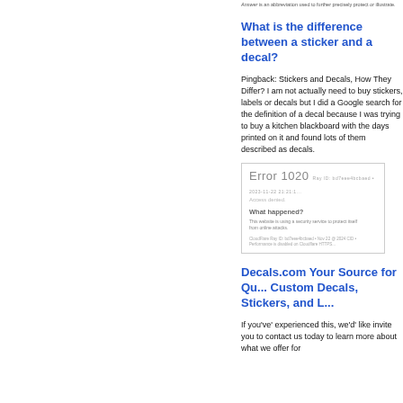Answer is an abbreviation used to further precisely protect or illustrate.
What is the difference between a sticker and a decal?
Pingback: Stickers and Decals, How They Differ? I am not actually need to buy stickers, labels or decals but I did a Google search for the definition of a decal because I was trying to buy a kitchen blackboard with the days printed on it and found lots of them described as decals.
[Figure (screenshot): Error 1020 screenshot showing access denied message from a website security service, with What happened? section explaining the website is using a security service to protect itself from online attacks.]
Decals.com Your Source for Quality Custom Decals, Stickers, and L...
If you've' experienced this, we'd' like invite you to contact us today to learn more about what we offer for